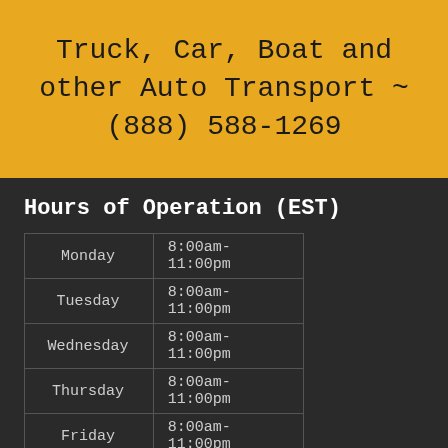Truck, Car, Boat and other Auto Transport ~ (888) 588-1269
Hours of Operation (EST)
| Day | Hours |
| --- | --- |
| Monday | 8:00am-11:00pm |
| Tuesday | 8:00am-11:00pm |
| Wednesday | 8:00am-11:00pm |
| Thursday | 8:00am-11:00pm |
| Friday | 8:00am-11:00pm |
| Saturday | 8:00am-11:00pm |
| Sunday | 8:00am-11:00pm |